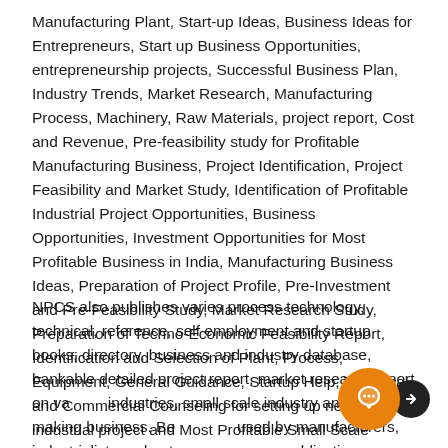Manufacturing Plant, Start-up Ideas, Business Ideas for Entrepreneurs, Start up Business Opportunities, entrepreneurship projects, Successful Business Plan, Industry Trends, Market Research, Manufacturing Process, Machinery, Raw Materials, project report, Cost and Revenue, Pre-feasibility study for Profitable Manufacturing Business, Project Identification, Project Feasibility and Market Study, Identification of Profitable Industrial Project Opportunities, Business Opportunities, Investment Opportunities for Most Profitable Business in India, Manufacturing Business Ideas, Preparation of Project Profile, Pre-Investment and Pre-Feasibility Study, Market Research Study, Preparation of Techno-Economic Feasibility Report, Identification and Selection of Plant, Process, Equipment, General Guidance, Startup Help, Technical and Commercial Counseling for setting up new industrial project and Most Profitable Small Scale Business.
NPCS also publishes varies process technology, technical, reference, self employment and startup books, directory, business and industry database, bankable detailed project report, market research report on various industries, small scale industry and profit making business. Best books used by manufacturers, industrialists and entrepreneurs, our publications